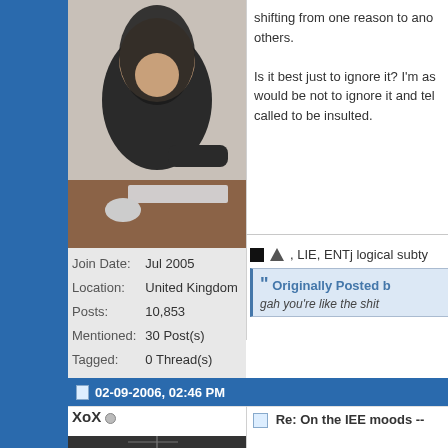[Figure (photo): Profile photo of a person with long dark hair sitting at a keyboard/desk]
Join Date: Jul 2005
Location: United Kingdom
Posts: 10,853
Mentioned: 30 Post(s)
Tagged: 0 Thread(s)
shifting from one reason to another, others.

Is it best just to ignore it? I'm as would be not to ignore it and tel called to be insulted.
■ △ , LIE, ENTj logical subty
Originally Posted b
gah you're like the shit
02-09-2006, 02:46 PM
XoX ○
Re: On the IEE moods --